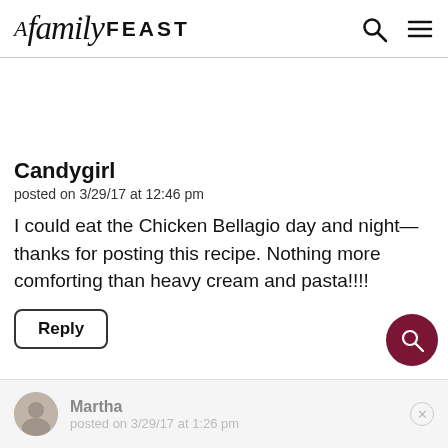A family FEAST
Candygirl
posted on 3/29/17 at 12:46 pm
I could eat the Chicken Bellagio day and night—thanks for posting this recipe. Nothing more comforting than heavy cream and pasta!!!!
Reply
Martha
posted on 3/29/17 at 1:26 pm